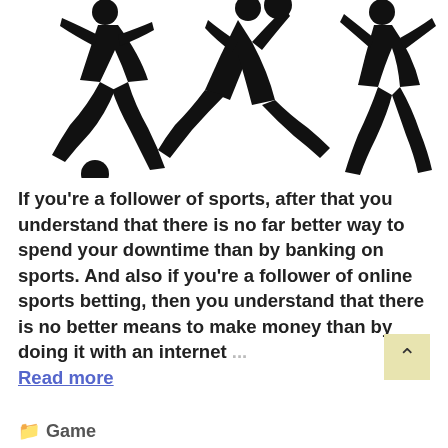[Figure (illustration): Three black silhouettes of athletes: a soccer player kicking a ball on the left, a player doing a bicycle kick in the center, and a basketball/running player on the right.]
If you're a follower of sports, after that you understand that there is no far better way to spend your downtime than by banking on sports. And also if you're a follower of online sports betting, then you understand that there is no better means to make money than by doing it with an internet ... Read more
Game